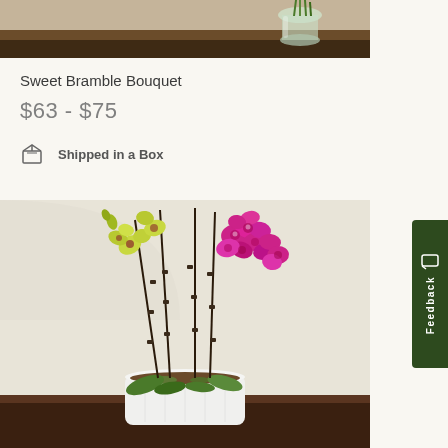[Figure (photo): Top portion of a product listing showing a partial view of a floral arrangement on a dark wooden table with a glass vase in the background]
Sweet Bramble Bouquet
$63 - $75
Shipped in a Box
[Figure (photo): Orchid plant arrangement with yellow-green and magenta/purple phalaenopsis orchids on tall dark stakes in a white rectangular textured pot, placed on a dark wooden surface against a beige/cream background]